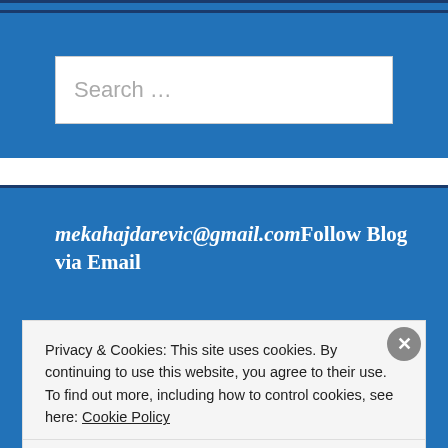[Figure (screenshot): Blue search widget with a search input box showing placeholder text 'Search ...']
mekahajdarevic@gmail.comFollow Blog via Email
Privacy & Cookies: This site uses cookies. By continuing to use this website, you agree to their use.
To find out more, including how to control cookies, see here: Cookie Policy
Close and accept